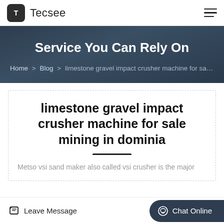Tecsee
Service You Can Rely On
Home > Blog > limestone gravel impact crusher machine for sale mining in dominia
limestone gravel impact crusher machine for sale mining in dominia
Metso vsi sand maker also called vsi crusher is the major
Leave Message
Chat Online